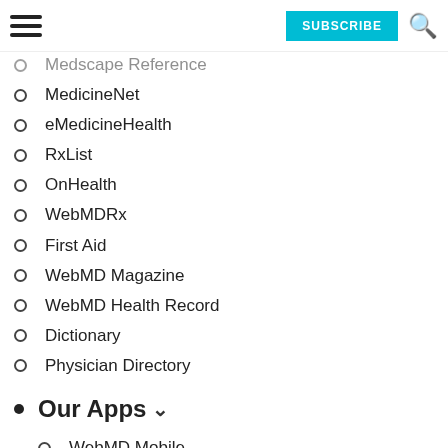SUBSCRIBE [search icon]
Medscape Reference
MedicineNet
eMedicineHealth
RxList
OnHealth
WebMDRx
First Aid
WebMD Magazine
WebMD Health Record
Dictionary
Physician Directory
Our Apps
WebMD Mobile
WebMD App
Pregnancy